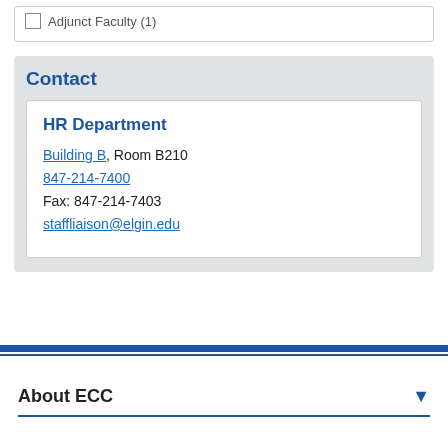Adjunct Faculty (1)
Contact
HR Department
Building B, Room B210
847-214-7400
Fax: 847-214-7403
staffliaison@elgin.edu
About ECC